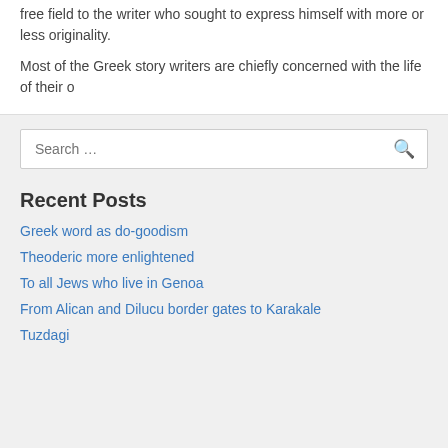free field to the writer who sought to express himself with more or less originality.
Most of the Greek story writers are chiefly concerned with the life of their o
[Figure (screenshot): Search box with placeholder text 'Search ...' and a search icon on the right]
Recent Posts
Greek word as do-goodism
Theoderic more enlightened
To all Jews who live in Genoa
From Alican and Dilucu border gates to Karakale
Tuzdagi